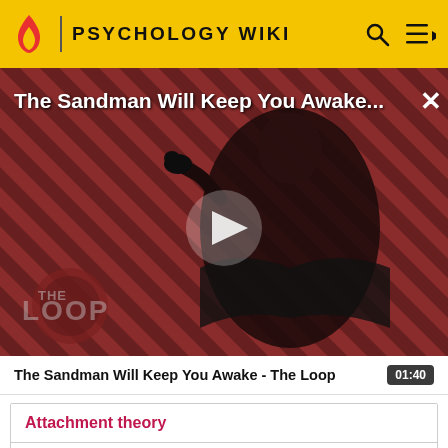PSYCHOLOGY WIKI
[Figure (screenshot): Video thumbnail for 'The Sandman Will Keep You Awake - The Loop' showing a dark figure in black cloak against a red and black diagonal striped background, with a large white play button in the center. 'THE LOOP' watermark visible at bottom left. Title text overlaid at top.]
The Sandman Will Keep You Awake - The Loop  01:40
Attachment theory
Attachment behaviour
Affectional bond
Attachment behaviour